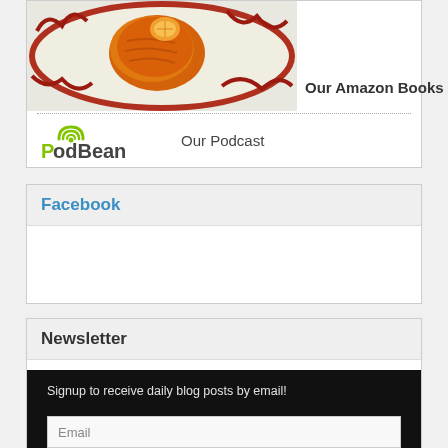[Figure (photo): Food photo showing a dish on a decorative plate with red patterns, partially cropped at top]
Our Amazon Books
[Figure (logo): PodBean logo with green wifi icon and stylized text]
Our Podcast
Facebook
Newsletter
Signup to receive daily blog posts by email!
Email